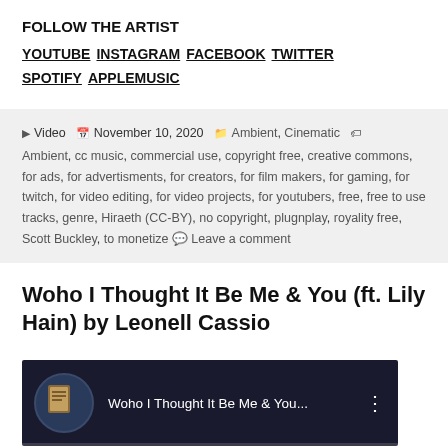FOLLOW THE ARTIST
YOUTUBE  INSTAGRAM  FACEBOOK  TWITTER  SPOTIFY  APPLEMUSIC
Posted in Video  November 10, 2020  Categories: Ambient, Cinematic  Tags: Ambient, cc music, commercial use, copyright free, creative commons, for ads, for advertisments, for creators, for film makers, for gaming, for twitch, for video editing, for video projects, for youtubers, free, free to use tracks, genre, Hiraeth (CC-BY), no copyright, plugnplay, royality free, Scott Buckley, to monetize  Leave a comment
Woho I Thought It Be Me & You (ft. Lily Hain) by Leonell Cassio
[Figure (screenshot): YouTube video thumbnail showing 'Woho I Thought It Be Me & You...' with dark blue/teal background, channel avatar on left, video title text, and three-dot menu icon on right]